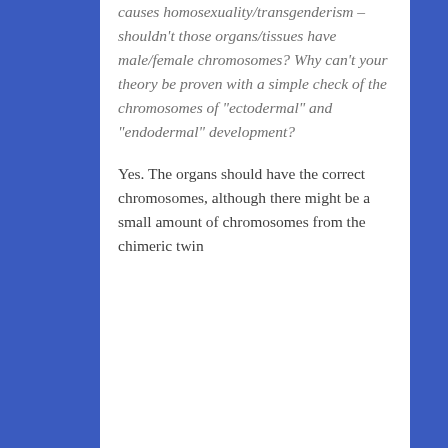causes homosexuality/transgenderism – shouldn't those organs/tissues have male/female chromosomes? Why can't your theory be proven with a simple check of the chromosomes of "ectodermal" and "endodermal" development?
Yes. The organs should have the correct chromosomes, although there might be a small amount of chromosomes from the chimeric twin